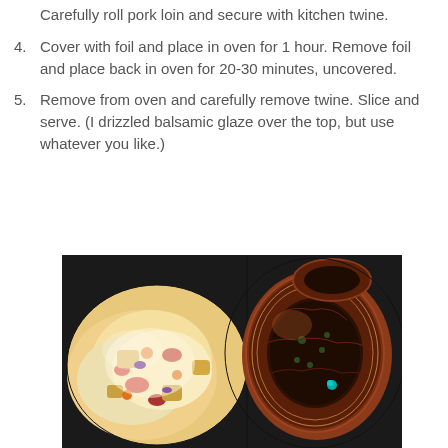Carefully roll pork loin and secure with kitchen twine.
4. Cover with foil and place in oven for 1 hour. Remove foil and place back in oven for 20-30 minutes, uncovered.
5. Remove from oven and carefully remove twine. Slice and serve. (I drizzled balsamic glaze over the top, but use whatever you like.)
[Figure (photo): Food photo showing potato salad on the left side and sliced stuffed pork loin on the right side, both on a dark plate/surface.]